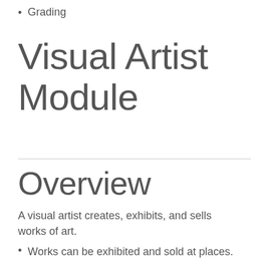Grading
Visual Artist Module
Overview
A visual artist creates, exhibits, and sells works of art.
Works can be exhibited and sold at places.